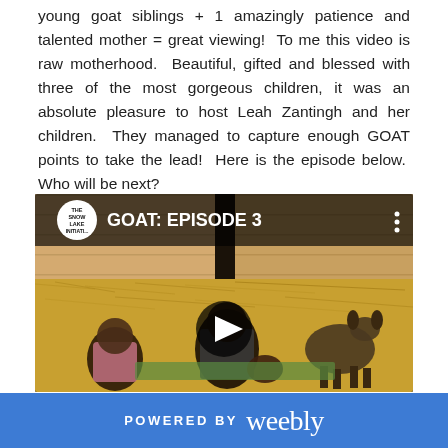young goat siblings + 1 amazingly patience and talented mother = great viewing!  To me this video is raw motherhood.  Beautiful, gifted and blessed with three of the most gorgeous children, it was an absolute pleasure to host Leah Zantingh and her children.  They managed to capture enough GOAT points to take the lead!  Here is the episode below.  Who will be next?
[Figure (screenshot): YouTube-style video player showing 'GOAT: EPISODE 3' with The Snow Lake Initiative logo, thumbnail of a mother and children sitting with goats on hay in a barn, with a play button overlay]
POWERED BY weebly